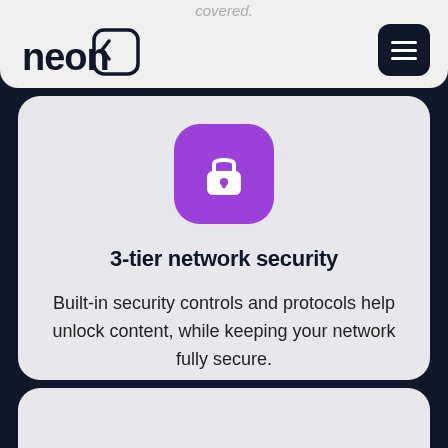covered.
[Figure (logo): Neon logo — stylized word 'neon' with a rounded square bracket icon]
[Figure (illustration): Dark navy rounded square hamburger menu button with three white horizontal lines]
[Figure (illustration): Purple rounded square icon with a white padlock symbol]
3-tier network security
Built-in security controls and protocols help unlock content, while keeping your network fully secure.